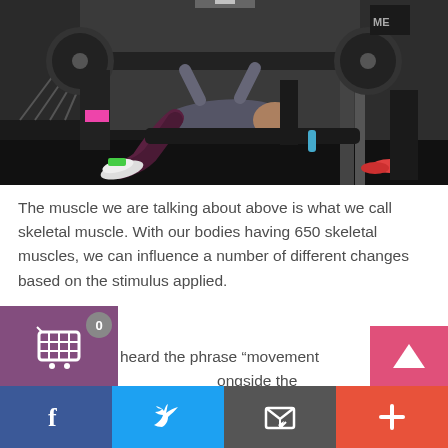[Figure (photo): A person performing a bench press with a barbell in a gym setting. Spectators in the background, pink floor mat visible, dark gym environment.]
The muscle we are talking about above is what we call skeletal muscle. With our bodies having 650 skeletal muscles, we can influence a number of different changes based on the stimulus applied.
You may have heard the phrase “movement patterns” b[...] ongside the simplified process above, it is i[...] to look at motor neurons and formation